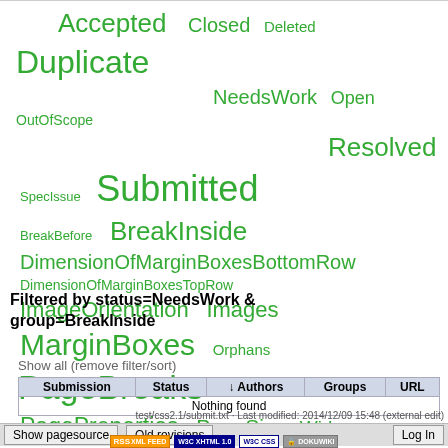[Figure (other): Tag cloud of status and group terms rendered in green at varying font sizes: Accepted, Closed, Deleted, Duplicate, NeedsWork, Open, OutOfScope, Resolved, SpecIssue, Submitted, BreakBefore, BreakInside, DimensionOfMarginBoxesBottomRow, DimensionOfMarginBoxesTopRow, ImageOrientation, Images, MarginBoxes, Orphans, PageBreaks, PageProperties, PageSize, Widows]
Filtered by status=NeedsWork & group=BreakInside
Show all (remove filter/sort)
| Submission | Status | ↓ Authors | Groups | URL |
| --- | --- | --- | --- | --- |
| Nothing found |  |  |  |  |
test/css2.1/submit.txt · Last modified: 2014/12/09 15:48 (external edit)
Show pagesource   Old revisions   Log In